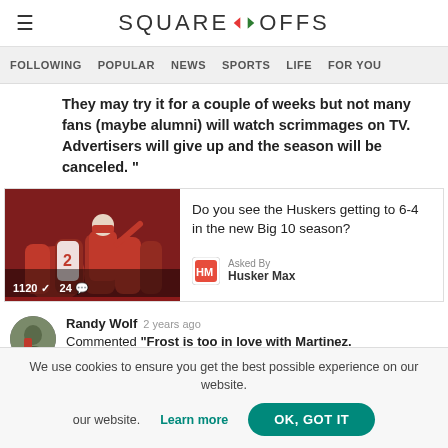Square Offs
FOLLOWING   POPULAR   NEWS   SPORTS   LIFE   FOR YOU
They may try it for a couple of weeks but not many fans (maybe alumni) will watch scrimmages on TV. Advertisers will give up and the season will be canceled. "
[Figure (photo): Nebraska Huskers football team photo with coach in red jacket, jersey number 2 visible. Stats overlay: 1120 checkmarks, 24 comments.]
Do you see the Huskers getting to 6-4 in the new Big 10 season?
Asked By Husker Max
Randy Wolf  2 years ago  Commented "Frost is too in love with Martinez. Which means the best quarterback on the
We use cookies to ensure you get the best possible experience on our website.  Learn more  OK, GOT IT